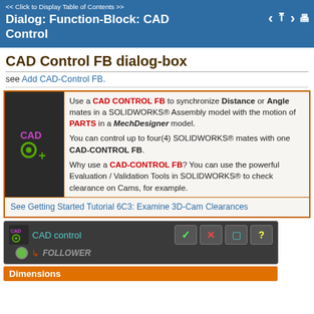<< Click to Display Table of Contents >> Dialog: Function-Block: CAD Control
CAD Control FB dialog-box
see Add CAD-Control FB.
Use a CAD CONTROL FB to synchronize Distance or Angle mates in a SOLIDWORKS® Assembly model with the motion of PARTS in a MechDesigner model. You can control up to four(4) SOLIDWORKS® mates with one CAD-CONTROL FB. Why use a CAD-CONTROL FB? You can use the powerful Evaluation / Validation Tools in SOLIDWORKS® to check clearance on Cams, for example.
See Getting Started Tutorial 6C3: Examine 3D-Cam Clearances
[Figure (screenshot): CAD control dialog box screenshot showing header with CAD label, FOLLOWER text, and action buttons (checkmark, X, document, question mark), plus Dimensions bar at bottom]